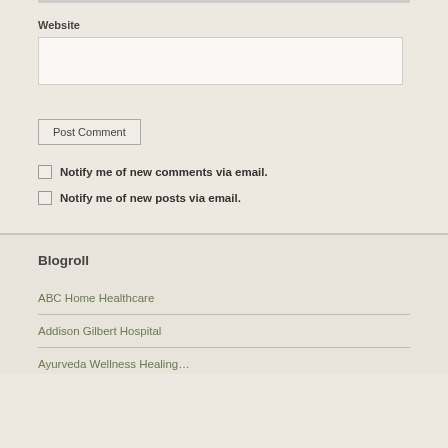Website
Post Comment
Notify me of new comments via email.
Notify me of new posts via email.
Blogroll
ABC Home Healthcare
Addison Gilbert Hospital
Ayurveda Wellness Healing…